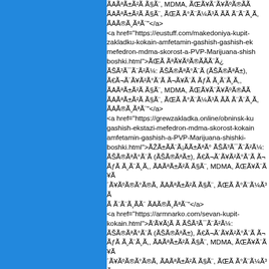ÃĀÃªÃ±Ã²Ã Ã§Ã¨, MDMA, ÃŒÃ¥Ã¨Ã¥ÃºÃ®ÃÃĀÃªÃ±Ã²Ã Ã§Ã¨, ÃŒÃ Ã°Ã¨Ã¼Ã³Ã ÃÃ  Ã¨Ã¨Ã¸ÃÃĀ®Ã¸ÃªÃ¨</a><a href="https://eustuff.com/makedoniya-kupit-zakladku-kokain-amfetamin-gashish-gashish-ekstazi-mefedron-mdma-skorost-a-PVP-Marijuana-shishki-boshki.html">ÃŒÃ ÃªÃ¥ÃºÃ®ÃÃÃ¨Ã¿ ÃŠÃ³Ã¯Ã¨Ã²Ã¼: ÃŠÃ®ÃªÃ°Ã¨Ã  (ÃŠÃ®ÃªÃ°Ã±), Ã€Ã¬Ã´Ã¥Ã²Ã°Ã¨Ã Ã¬Ã¨Ã  Ã¬Ã¥Ã¨Ã  ÃƒÃ Ã¸Ã¨Ã¸Ã,, ÃĀÃªÃ±Ã²Ã Ã§Ã¨, MDMA, ÃŒÃ¥Ã¨Ã¥ÃºÃ®ÃÃĀÃªÃ±Ã²Ã Ã§Ã¨, ÃŒÃ Ã°Ã¨Ã¼Ã³Ã ÃÃ  Ã¨Ã¨Ã¸ÃÃĀ®Ã¸ÃªÃ¨</a><a href="https://grewzakladka.online/obninsk-kupit-zakladku-gashish-ekstazi-mefedron-mdma-skorost-kokain-amfetamin-gashish-a-PVP-Marijuana-shishki-boshki.html">ÃŽÃ±ÃÃ¨Ã¡ÃÃ±ÃªÃ° ÃŠÃ³Ã¯Ã¨Ã²Ã¼: ÃŠÃ®ÃªÃ°Ã¨Ã  (ÃŠÃ®ÃªÃ±), Ã€Ã¬Ã´Ã¥Ã²Ã°Ã¨Ã ÃƒÃ Ã¸Ã¨Ã¸Ã,, ÃĀÃªÃ±Ã²Ã Ã§Ã¨, MDMA, ÃŒÃ¥Ã¨Ã¥ÃºÃ®Ã, ÃĀÃªÃ±Ã²Ã Ã§Ã¨, ÃŒÃ Ã°Ã¨Ã¼Ã³ÃÃ  Ã¨Ã¨Ã¸Ã ÃĀ®Ã¸ÃªÃ¨</a><a href="https://armnarko.com/sevan-kupit-kokain.html">Ã'Ã¥Ã¦Ã Ã  ÃŠÃ³Ã¯Ã¨Ã²Ã¼: ÃŠÃ®ÃªÃ°Ã¨Ã  (ÃŠÃ®ÃªÃ±), Ã€Ã¬Ã´Ã¥Ã²Ã°Ã¨Ã ÃƒÃ Ã¸Ã¨Ã¸Ã,, ÃĀÃªÃ±Ã²Ã Ã§Ã¨, MDMA, ÃŒÃ¥Ã¨Ã¥ÃºÃ®Ã, ÃĀÃªÃ±Ã²Ã Ã§Ã¨, ÃŒÃ Ã°Ã¨Ã¼Ã³Ã